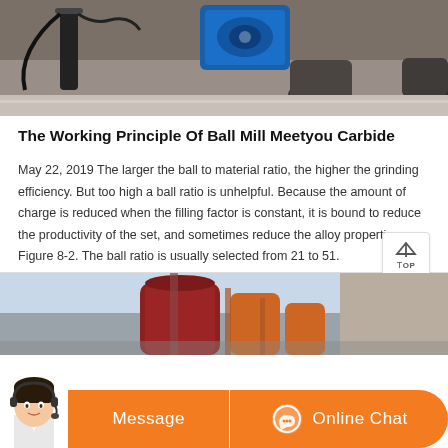[Figure (photo): Top portion of a ball mill machine with cables and worker's feet visible on a concrete surface, blue equipment component visible]
The Working Principle Of Ball Mill Meetyou Carbide
May 22, 2019 The larger the ball to material ratio, the higher the grinding efficiency. But too high a ball ratio is unhelpful. Because the amount of charge is reduced when the filling factor is constant, it is bound to reduce the productivity of the set, and sometimes reduce the alloy properties Figure 8-2. The ball ratio is usually selected from 21 to 51.
[Figure (photo): Industrial ball mill machinery with large cylindrical tanks and pipes, outdoor industrial setting]
[Figure (photo): Customer service representative / chat avatar - woman with headset]
Message
Online Chat